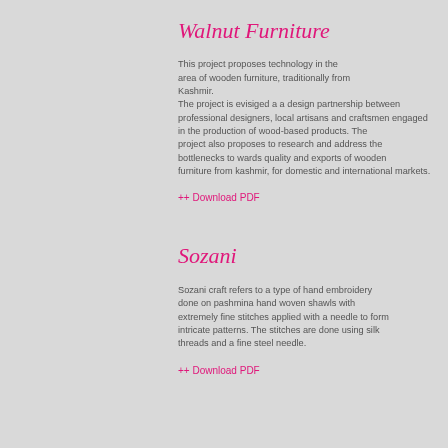Walnut Furniture
This project proposes technology in the area of wooden furniture, traditionally from Kashmir.
The project is evisiged a a design partnership between professional designers, local artisans and craftsmen engaged in the production of wood-based products. The project also proposes to research and address the bottlenecks to wards quality and exports of wooden furniture from kashmir, for domestic and international markets.
++ Download PDF
Sozani
Sozani craft refers to a type of hand embroidery done on pashmina hand woven shawls with extremely fine stitches applied with a needle to form intricate patterns. The stitches are done using silk threads and a fine steel needle.
++ Download PDF